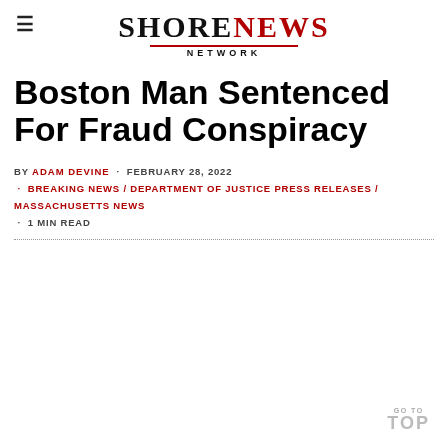SHORE NEWS NETWORK
Boston Man Sentenced For Fraud Conspiracy
BY ADAM DEVINE · FEBRUARY 28, 2022 · BREAKING NEWS / DEPARTMENT OF JUSTICE PRESS RELEASES / MASSACHUSETTS NEWS · 1 MIN READ